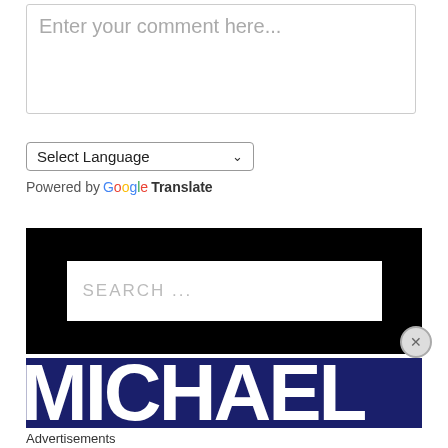[Figure (screenshot): Comment text input box with placeholder text 'Enter your comment here...']
[Figure (screenshot): Google Translate widget with 'Select Language' dropdown and 'Powered by Google Translate' text]
[Figure (screenshot): Black search bar with 'SEARCH ...' placeholder text on white background]
[Figure (screenshot): Dark navy blue banner with large white bold text 'MICHAEL' partially cropped]
Advertisements
[Figure (screenshot): Macy's advertisement banner: 'KISS BORING LIPS GOODBYE' with 'SHOP NOW' button and Macy's star logo on red background]